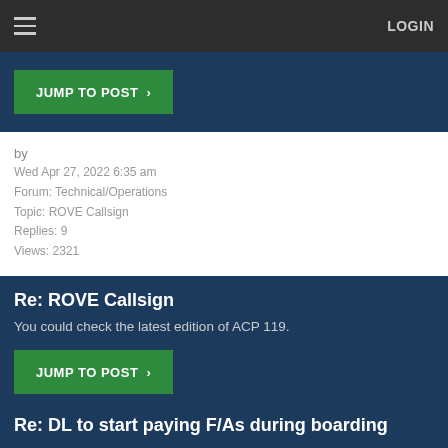LOGIN
[Figure (screenshot): Green JUMP TO POST button with arrow]
by
Wed Apr 27, 2022 6:35 am
Forum: Technical/Operations
Topic: ROVE Callsign
Replies: 9
Views: 2321
Re: ROVE Callsign
You could check the latest edition of ACP 119.
[Figure (screenshot): Green JUMP TO POST button with arrow]
by
Tue Apr 26, 2022 5:32 pm
Forum: Civil Aviation
Topic: DL to start paying F/As during boarding
Replies: 135
Views: 20359
Re: DL to start paying F/As during boarding